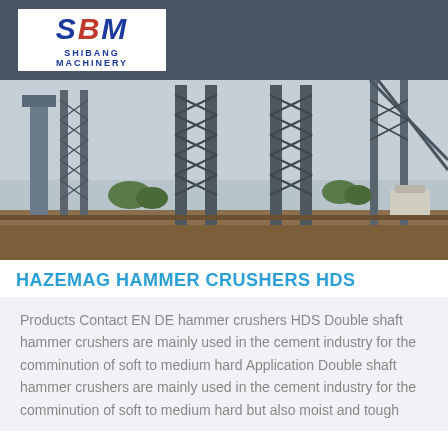[Figure (logo): SBM Shibang Machinery logo — blue and red letters SBM in italic bold, gold horizontal line, blue text SHIBANG MACHINERY below, on white background in grey header bar]
[Figure (photo): Industrial cement plant or mining facility with large steel lattice structures, silos, conveyors, and industrial equipment against a cloudy sky. Earthworks visible in foreground.]
HAZEMAG HAMMER CRUSHERS HDS
Products Contact EN DE hammer crushers HDS Double shaft hammer crushers are mainly used in the cement industry for the comminution of soft to medium hard Application Double shaft hammer crushers are mainly used in the cement industry for the comminution of soft to medium hard but also moist and tough